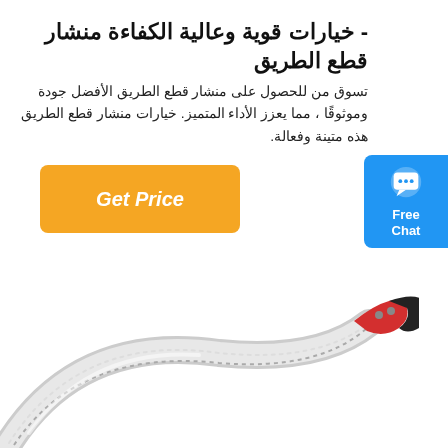- خيارات قوية وعالية الكفاءة منشار قطع الطريق
تسوق من للحصول على منشار قطع الطريق الأفضل جودة وموثوقًا ، مما يعزز الأداء المتميز. خيارات منشار قطع الطريق هذه متينة وفعالة.
[Figure (other): Orange 'Get Price' button]
[Figure (other): Blue 'Free Chat' widget button with speech bubble icon]
[Figure (photo): A curved saw/machete with a serrated blade, red and black handle, on a white background]